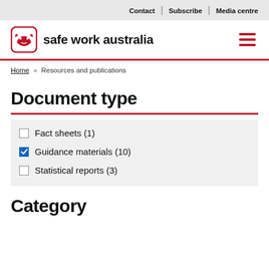Contact | Subscribe | Media centre
[Figure (logo): Safe Work Australia logo with wombat icon and bold text]
Home » Resources and publications
Document type
Fact sheets (1)
Guidance materials (10)
Statistical reports (3)
Category